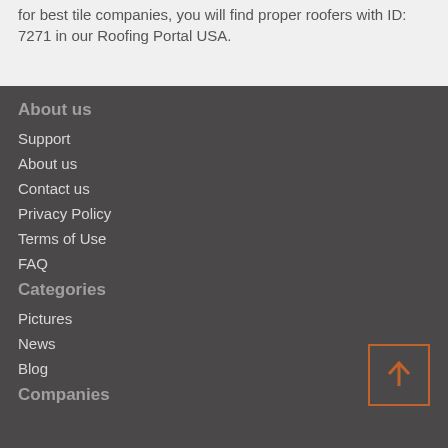for best tile companies, you will find proper roofers with ID: 7271 in our Roofing Portal USA.
About us
Support
About us
Contact us
Privacy Policy
Terms of Use
FAQ
Categories
Pictures
News
Blog
[Figure (other): Back to top button with upward arrow, orange border]
Companies